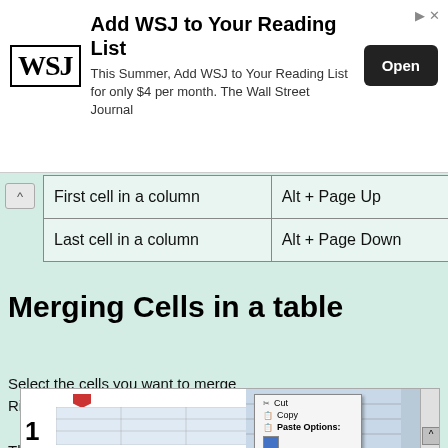[Figure (screenshot): WSJ advertisement banner: 'Add WSJ to Your Reading List' with WSJ logo, text 'This Summer, Add WSJ to Your Reading List for only $4 per month. The Wall Street Journal', and an Open button.]
| First cell in a column | Alt + Page Up |
| Last cell in a column | Alt + Page Down |
Merging Cells in a table
Select the cells you want to merge
Right-click within the selected cells then select Merge Cells
The selected cells are merged.
[Figure (screenshot): Screenshot showing a table in a word processor with cells selected and a right-click context menu showing options: Cut, Copy, Paste Options]